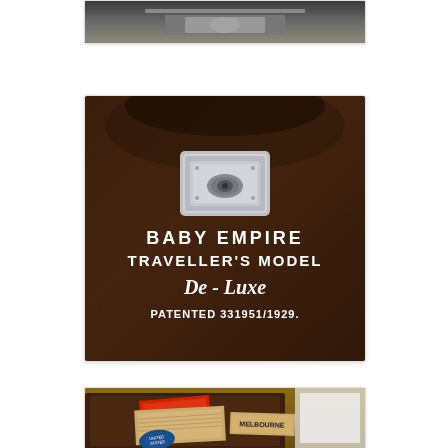[Figure (photo): Partial top photo showing what appears to be a camera or mechanical device, cropped at top of page]
[Figure (photo): Close-up photo of dark brown leather surface with a metal latch/clasp and white text reading: BABY EMPIRE TRAVELLER'S MODEL De-Luxe PATENTED 331951/1929.]
[Figure (photo): Photo of a dark brown leather case/suitcase on a wooden deck with vintage travel stickers including one that reads MELBOURNE]